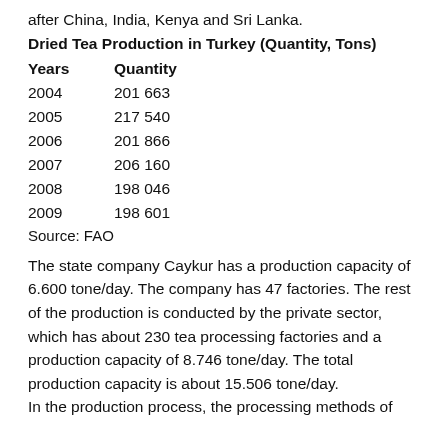after China, India, Kenya and Sri Lanka.
Dried Tea Production in Turkey (Quantity, Tons)
| Years | Quantity |
| --- | --- |
| 2004 | 201 663 |
| 2005 | 217 540 |
| 2006 | 201 866 |
| 2007 | 206 160 |
| 2008 | 198 046 |
| 2009 | 198 601 |
Source: FAO
The state company Caykur has a production capacity of 6.600 tone/day. The company has 47 factories. The rest of the production is conducted by the private sector, which has about 230 tea processing factories and a production capacity of 8.746 tone/day. The total production capacity is about 15.506 tone/day.
In the production process, the processing methods of